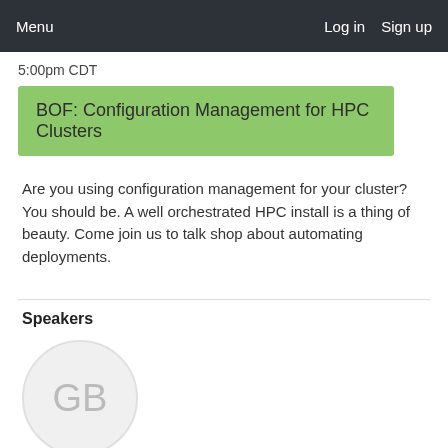Menu   Log in   Sign up
5:00pm CDT
BOF: Configuration Management for HPC Clusters
Are you using configuration management for your cluster? You should be. A well orchestrated HPC install is a thing of beauty. Come join us to talk shop about automating deployments.
Speakers
[Figure (illustration): Circular avatar placeholder with initials GB in gray on light gray background]
Gregor B...